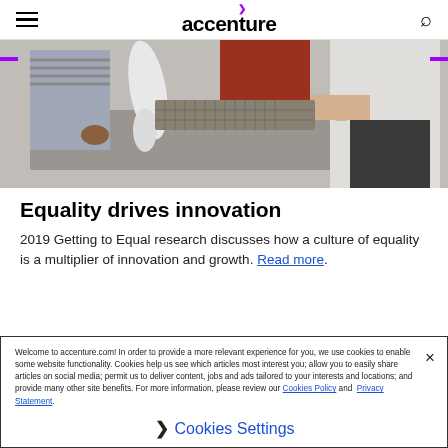accenture (navigation header with hamburger menu and search icon)
[Figure (photo): People working around a table with small colorful objects and a white robotic arm, in a collaborative workspace setting]
Equality drives innovation
2019 Getting to Equal research discusses how a culture of equality is a multiplier of innovation and growth. Read more.
Welcome to accenture.com! In order to provide a more relevant experience for you, we use cookies to enable some website functionality. Cookies help us see which articles most interest you; allow you to easily share articles on social media; permit us to deliver content, jobs and ads tailored to your interests and locations; and provide many other site benefits. For more information, please review our Cookies Policy and Privacy Statement.
Cookies Settings